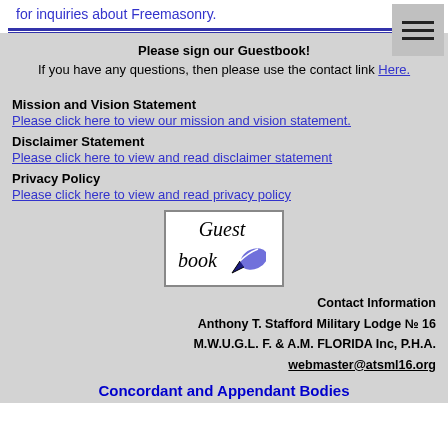for inquiries about Freemasonry.
[Figure (other): Hamburger menu icon (three horizontal lines) on a grey square background]
Please sign our Guestbook!
If you have any questions, then please use the contact link Here.
Mission and Vision Statement
Please click here to view our mission and vision statement.
Disclaimer Statement
Please click here to view and read disclaimer statement
Privacy Policy
Please click here to view and read privacy policy
[Figure (illustration): Guestbook icon with handwriting pen illustration]
Contact Information
Anthony T. Stafford Military Lodge № 16
M.W.U.G.L. F. & A.M. FLORIDA Inc, P.H.A.
webmaster@atsml16.org
Concordant and Appendant Bodies